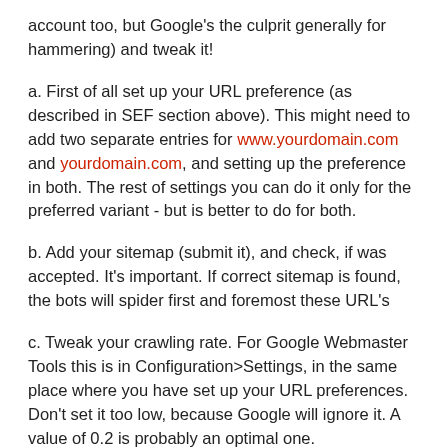account too, but Google's the culprit generally for hammering) and tweak it!
a. First of all set up your URL preference (as described in SEF section above). This might need to add two separate entries for www.yourdomain.com and yourdomain.com, and setting up the preference in both. The rest of settings you can do it only for the preferred variant - but is better to do for both.
b. Add your sitemap (submit it), and check, if was accepted. It's important. If correct sitemap is found, the bots will spider first and foremost these URL's
c. Tweak your crawling rate. For Google Webmaster Tools this is in Configuration>Settings, in the same place where you have set up your URL preferences. Don't set it too low, because Google will ignore it. A value of 0.2 is probably an optimal one.
d. Go to URL Parameters section, and see what parameters Google discovered, and tweak how they are handled. Joomla is one of the worst cms systems (it is better now, but historically it's known for having tons of duplicate urls